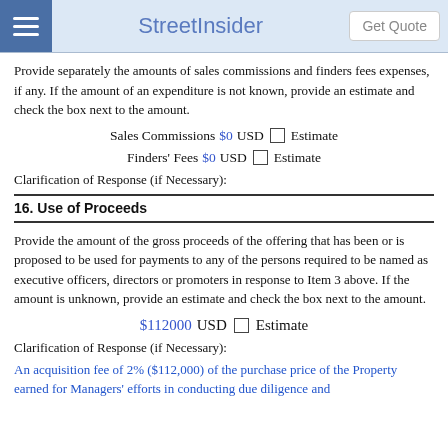StreetInsider
Provide separately the amounts of sales commissions and finders fees expenses, if any. If the amount of an expenditure is not known, provide an estimate and check the box next to the amount.
Sales Commissions $0 USD [ ] Estimate
Finders' Fees $0 USD [ ] Estimate
Clarification of Response (if Necessary):
16. Use of Proceeds
Provide the amount of the gross proceeds of the offering that has been or is proposed to be used for payments to any of the persons required to be named as executive officers, directors or promoters in response to Item 3 above. If the amount is unknown, provide an estimate and check the box next to the amount.
$112000 USD [ ] Estimate
Clarification of Response (if Necessary):
An acquisition fee of 2% ($112,000) of the purchase price of the Property earned for Managers' efforts in conducting due diligence and